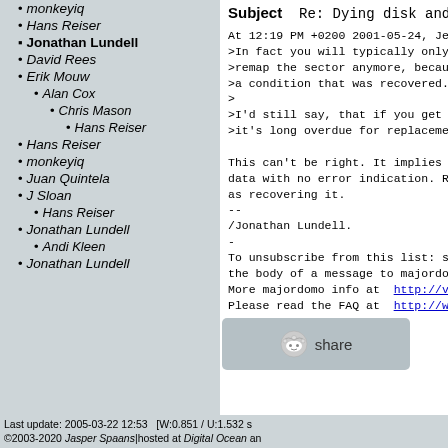monkeyiq
Hans Reiser
Jonathan Lundell (active/bold)
David Rees
Erik Mouw
Alan Cox
Chris Mason
Hans Reiser
Hans Reiser
monkeyiq
Juan Quintela
J Sloan
Hans Reiser
Jonathan Lundell
Andi Kleen
Jonathan Lundell
Subject  Re: Dying disk and f
At 12:19 PM +0200 2001-05-24, Jens A
>In fact you will typically only see
>remap the sector anymore, because i
>a condition that was recovered.
>
>I'd still say, that if you get bad
>it's long overdue for replacement.

This can't be right. It implies that
data with no error indication. Remap
as recovering it.
--
/Jonathan Lundell.
-
To unsubscribe from this list: send
the body of a message to majordomo@v
More majordomo info at  http://vger.
Please read the FAQ at  http://www.t
[Figure (other): Reddit share button with alien mascot icon and 'share' text]
Last update: 2005-03-22 12:53   [W:0.851 / U:1.532 s
©2003-2020 Jasper Spaans|hosted at Digital Ocean an